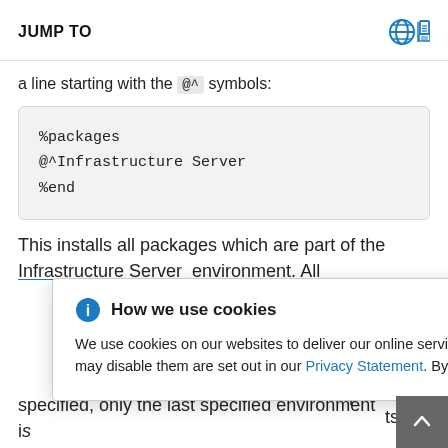JUMP TO
a line starting with the @^ symbols:
%packages
@^Infrastructure Server
%end
This installs all packages which are part of the Infrastructure Server environment. All
[Figure (screenshot): Cookie consent popup: 'How we use cookies' with information icon, close button (×), and text describing cookie use with a Privacy Statement link.]
specified, only the last specified environment is